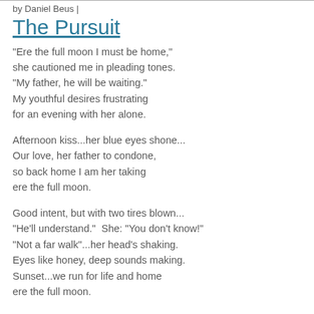by Daniel Beus |
The Pursuit
"Ere the full moon I must be home,"
she cautioned me in pleading tones.
"My father, he will be waiting."
My youthful desires frustrating
for an evening with her alone.
Afternoon kiss...her blue eyes shone...
Our love, her father to condone,
so back home I am her taking
ere the full moon.
Good intent, but with two tires blown...
"He'll understand."  She: "You don't know!"
"Not a far walk"...her head's shaking.
Eyes like honey, deep sounds making.
Sunset...we run for life and home
ere the full moon.